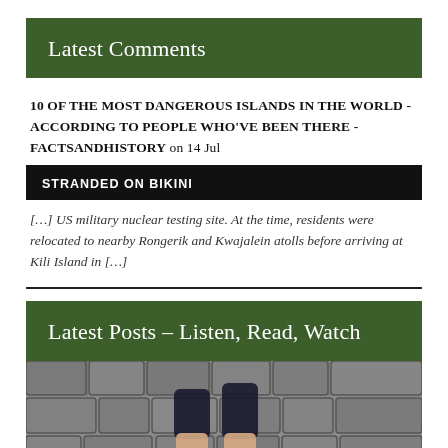Latest Comments
10 OF THE MOST DANGEROUS ISLANDS IN THE WORLD - ACCORDING TO PEOPLE WHO'VE BEEN THERE - FACTSANDHISTORY on 14 Jul
STRANDED ON BIKINI
[…] US military nuclear testing site. At the time, residents were relocated to nearby Rongerik and Kwajalein atolls before arriving at Kili Island in […]
Latest Posts – Listen, Read, Watch
[Figure (photo): Photo of cobblestone pavement with a person's legs/feet walking, wearing dark shorts and light skin, viewed from above.]